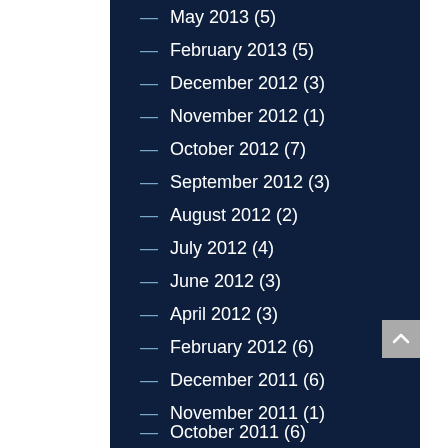— May 2013 (5)
— February 2013 (5)
— December 2012 (3)
— November 2012 (1)
— October 2012 (7)
— September 2012 (3)
— August 2012 (2)
— July 2012 (4)
— June 2012 (3)
— April 2012 (3)
— February 2012 (6)
— December 2011 (6)
— November 2011 (1)
— October 2011 (6)